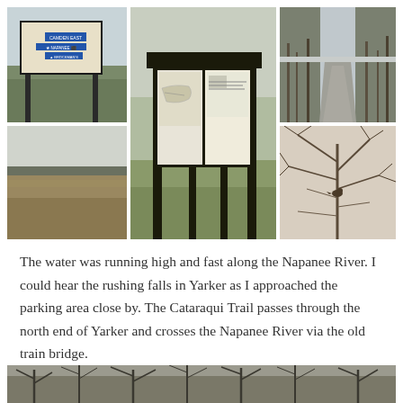[Figure (photo): Collage of 5 outdoor photos showing: a road sign for Camden East / Napanee, a trail information kiosk with bulletin board, a paved trail through bare winter trees, an open field with treeline, and bare winter branches with a small bird.]
The water was running high and fast along the Napanee River. I could hear the rushing falls in Yarker as I approached the parking area close by. The Cataraqui Trail passes through the north end of Yarker and crosses the Napanee River via the old train bridge.
[Figure (photo): Partial view of bare winter trees against a grey sky, bottom portion of page.]